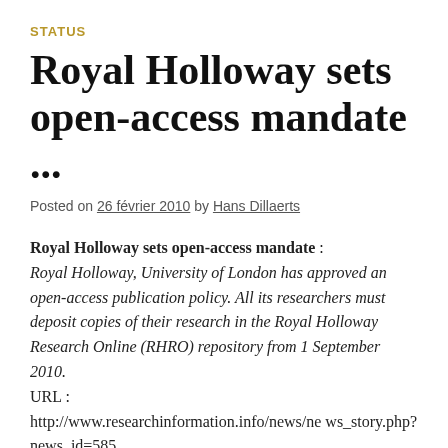STATUS
Royal Holloway sets open-access mandate ...
Posted on 26 février 2010 by Hans Dillaerts
Royal Holloway sets open-access mandate : Royal Holloway, University of London has approved an open-access publication policy. All its researchers must deposit copies of their research in the Royal Holloway Research Online (RHRO) repository from 1 September 2010.
URL :
http://www.researchinformation.info/news/news_story.php?news_id=585